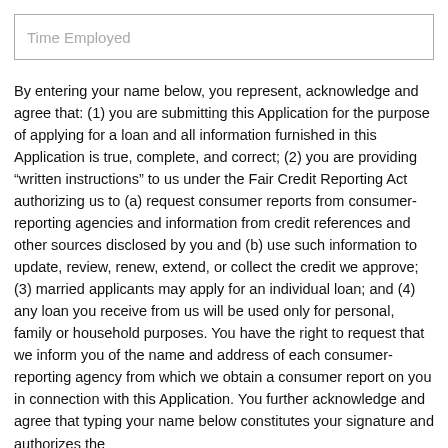Time Employed
By entering your name below, you represent, acknowledge and agree that: (1) you are submitting this Application for the purpose of applying for a loan and all information furnished in this Application is true, complete, and correct; (2) you are providing “written instructions” to us under the Fair Credit Reporting Act authorizing us to (a) request consumer reports from consumer-reporting agencies and information from credit references and other sources disclosed by you and (b) use such information to update, review, renew, extend, or collect the credit we approve; (3) married applicants may apply for an individual loan; and (4) any loan you receive from us will be used only for personal, family or household purposes. You have the right to request that we inform you of the name and address of each consumer-reporting agency from which we obtain a consumer report on you in connection with this Application. You further acknowledge and agree that typing your name below constitutes your signature and authorizes the